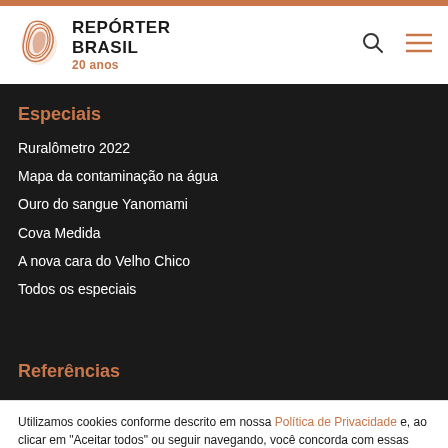REPÓRTER BRASIL 20 anos
Especiais
Ruralômetro 2022
Mapa da contaminação na água
Ouro do sangue Yanomami
Cova Medida
A nova cara do Velho Chico
Todos os especiais
Referências
Utilizamos cookies conforme descrito em nossa Política de Privacidade e, ao clicar em "Aceitar todos" ou seguir navegando, você concorda com essas condições.
cookies | Aceitar todos